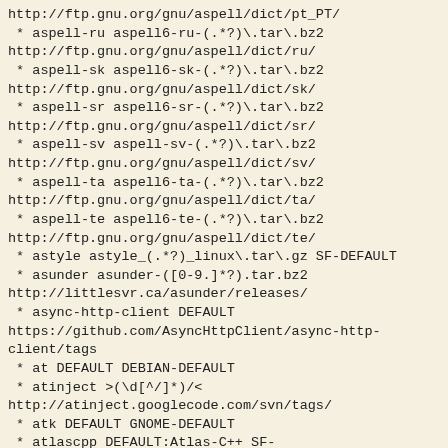http://ftp.gnu.org/gnu/aspell/dict/pt_PT/
 * aspell-ru aspell6-ru-(.*?)\.tar\.bz2
http://ftp.gnu.org/gnu/aspell/dict/ru/
 * aspell-sk aspell6-sk-(.*?)\.tar\.bz2
http://ftp.gnu.org/gnu/aspell/dict/sk/
 * aspell-sr aspell6-sr-(.*?)\.tar\.bz2
http://ftp.gnu.org/gnu/aspell/dict/sr/
 * aspell-sv aspell-sv-(.*?)\.tar\.bz2
http://ftp.gnu.org/gnu/aspell/dict/sv/
 * aspell-ta aspell6-ta-(.*?)\.tar\.bz2
http://ftp.gnu.org/gnu/aspell/dict/ta/
 * aspell-te aspell6-te-(.*?)\.tar\.bz2
http://ftp.gnu.org/gnu/aspell/dict/te/
 * astyle astyle_(.*?)_linux\.tar\.gz SF-DEFAULT
 * asunder asunder-([0-9.]*?).tar.bz2
http://littlesvr.ca/asunder/releases/
 * async-http-client DEFAULT
https://github.com/AsyncHttpClient/async-http-client/tags
 * at DEFAULT DEBIAN-DEFAULT
 * atinject >(\d[^/]*)/< 
http://atinject.googlecode.com/svn/tags/
 * atk DEFAULT GNOME-DEFAULT
 * atlascpp DEFAULT:Atlas-C++ SF-